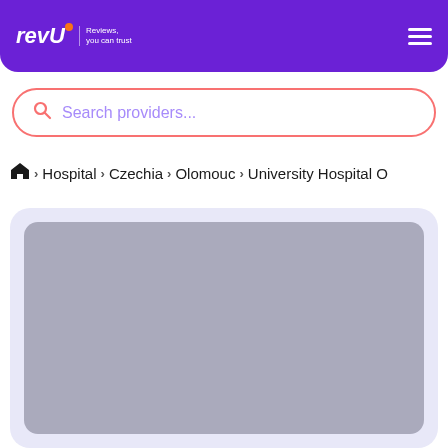revU Reviews, you can trust
Search providers...
Hospital > Czechia > Olomouc > University Hospital O
[Figure (photo): Gray placeholder image card with light lavender background, representing a hospital photo]